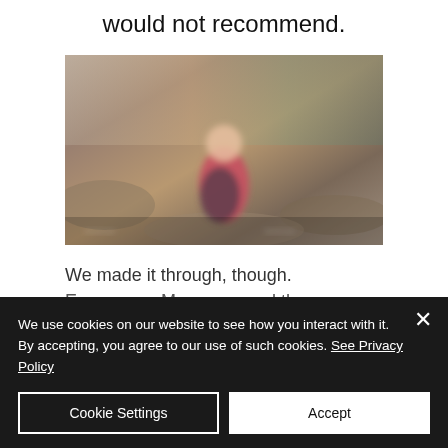would not recommend.
[Figure (photo): Blurred outdoor photo of a person in a red/pink shirt standing in a natural outdoor setting with brownish/earthy tones in the background]
We made it through, though.
Emergency Managers and those
We use cookies on our website to see how you interact with it. By accepting, you agree to our use of such cookies. See Privacy Policy
Cookie Settings
Accept